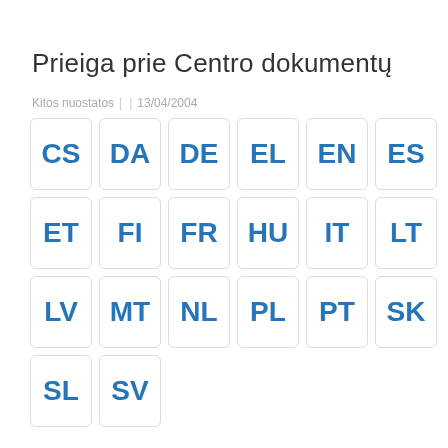Prieiga prie Centro dokumentų
Kitos nuostatos  |  | 13/04/2004
[Figure (other): Grid of language code buttons: CS, DA, DE, EL, EN, ES, ET, FI, FR, HU, IT, LT, LV, MT, NL, PL, PT, SK, SL, SV]